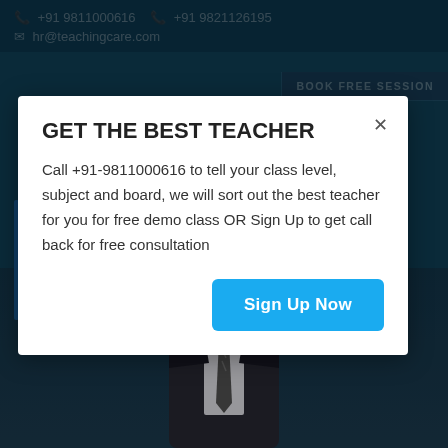📞 +91 9811000616  📞 +91 9821126195
✉ hr@teachingcare.com
GET THE BEST TEACHER
Call +91-9811000616 to tell your class level, subject and board, we will sort out the best teacher for you for free demo class OR Sign Up to get call back for free consultation
Sign Up Now